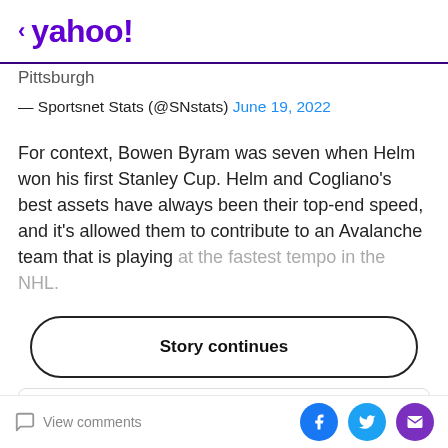< yahoo!
Pittsburgh
— Sportsnet Stats (@SNstats) June 19, 2022
For context, Bowen Byram was seven when Helm won his first Stanley Cup. Helm and Cogliano's best assets have always been their top-end speed, and it's allowed them to contribute to an Avalanche team that is playing at the fastest tempo in the NHL.
Story continues
READ MORE
View comments